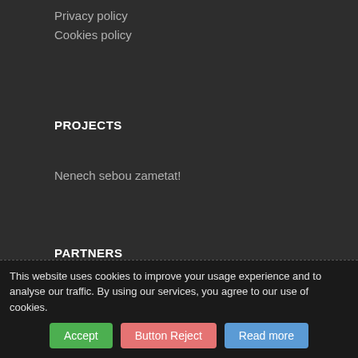Privacy policy
Cookies policy
PROJECTS
Nenech sebou zametat!
PARTNERS
Hotel Prokopka
DCI v ČR
Mladiinfo ČR
POSTAL ADDRESS
Change it!
Hotel Prokopka
Prokopova 9
130 00 Praha
Czech Republic
This website uses cookies to improve your usage experience and to analyse our traffic. By using our services, you agree to our use of cookies.